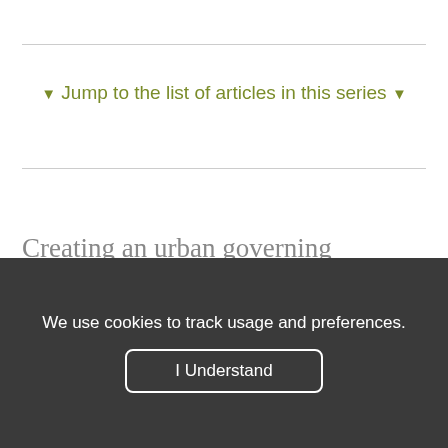▼ Jump to the list of articles in this series ▼
Creating an urban governing coalition that vigorously pursues public policies that reduce
We use cookies to track usage and preferences.
I Understand